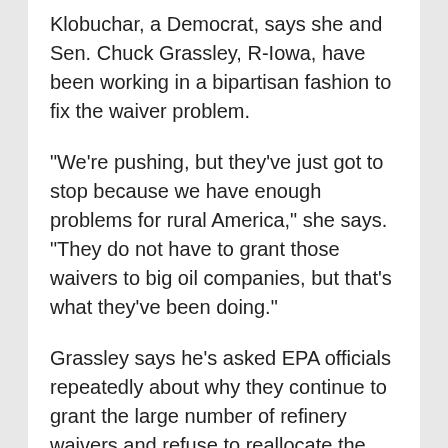Klobuchar, a Democrat, says she and Sen. Chuck Grassley, R-Iowa, have been working in a bipartisan fashion to fix the waiver problem.
"We're pushing, but they've just got to stop because we have enough problems for rural America," she says. "They do not have to grant those waivers to big oil companies, but that's what they've been doing."
Grassley says he's asked EPA officials repeatedly about why they continue to grant the large number of refinery waivers and refuse to reallocate the lost gallons, but has received an unsatisfactory answer. "I assume that they (EPA) are saying that the law doesn't allow it